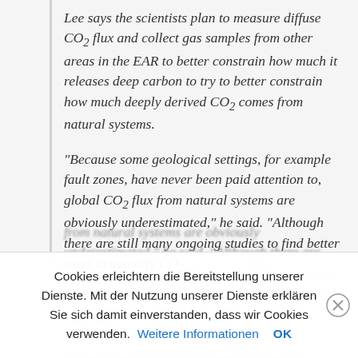Lee says the scientists plan to measure diffuse CO₂ flux and collect gas samples from other areas in the EAR to better constrain how much it releases deep carbon to try to better constrain how much deeply derived CO₂ comes from natural systems.
“Because some geological settings, for example fault zones, have never been paid attention to, global CO₂ flux from natural systems are obviously underestimated,” he said. “Although there are still many ongoing studies to find better ways to quantify CO₂
Cookies erleichtern die Bereitstellung unserer Dienste. Mit der Nutzung unserer Dienste erklären Sie sich damit einverstanden, dass wir Cookies verwenden. Weitere Informationen OK